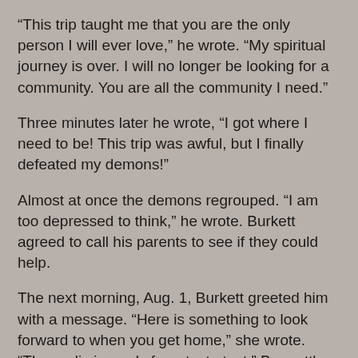“This trip taught me that you are the only person I will ever love,” he wrote. “My spiritual journey is over. I will no longer be looking for a community. You are all the community I need.”
Three minutes later he wrote, “I got where I need to be! This trip was awful, but I finally defeated my demons!”
Almost at once the demons regrouped. “I am too depressed to think,” he wrote. Burkett agreed to call his parents to see if they could help.
The next morning, Aug. 1, Burkett greeted him with a message. “Here is something to look forward to when you get home,” she wrote. “The garlic is ready for a taste test.” Bennett's favorite snack was pickled garlic, an expensive treat he had tried unsuccessfully to emulate. Burkett had perfected a recipe that needed 21 days of refrigeration to infuse.
Bennett responded with a message saying he had contacted